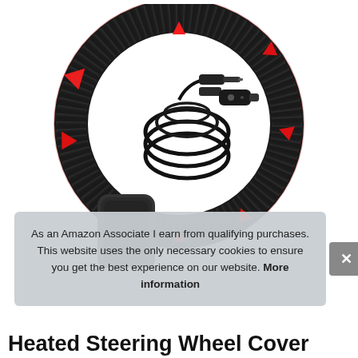[Figure (photo): A heated steering wheel cover shown as a black textured ring with red glowing arrows indicating heating direction around its circumference, a coiled black power cord with car adapter plug in the center, and a black storage pouch in the lower left. Red radial glow effect around the wheel rim.]
As an Amazon Associate I earn from qualifying purchases. This website uses the only necessary cookies to ensure you get the best experience on our website. More information
Heated Steering Wheel Cover